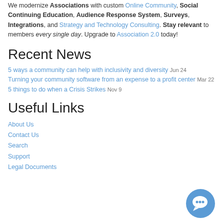We modernize Associations with custom Online Community, Social Continuing Education, Audience Response System, Surveys, Integrations, and Strategy and Technology Consulting. Stay relevant to members every single day. Upgrade to Association 2.0 today!
Recent News
5 ways a community can help with inclusivity and diversity Jun 24
Turning your community software from an expense to a profit center Mar 22
5 things to do when a Crisis Strikes Nov 9
Useful Links
About Us
Contact Us
Search
Support
Legal Documents
[Figure (illustration): Blue circular chat/community icon in bottom right corner]